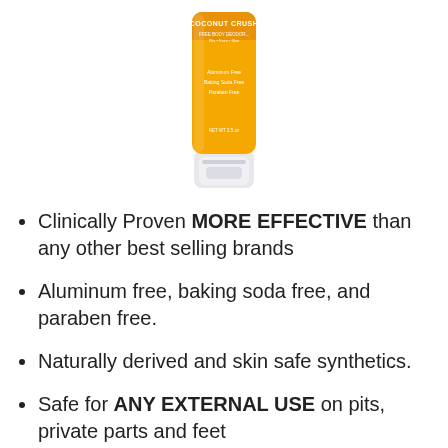[Figure (photo): A yellow and white deodorant/body product tube with 'Coconut Crush' branding and orange label text, white pump/cap at bottom]
Clinically Proven MORE EFFECTIVE than any other best selling brands
Aluminum free, baking soda free, and paraben free.
Naturally derived and skin safe synthetics.
Safe for ANY EXTERNAL USE on pits, private parts and feet
Indulge in the warm and soothing fragrance of fresh coconut. Natural